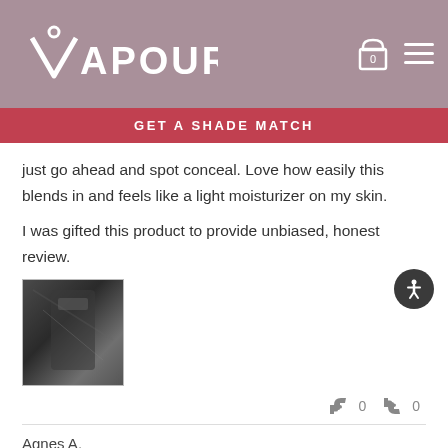VAPOUR
GET A SHADE MATCH
just go ahead and spot conceal. Love how easily this blends in and feels like a light moisturizer on my skin.
I was gifted this product to provide unbiased, honest review.
[Figure (photo): Small thumbnail photo of a dark product (appears to be a cosmetic item in dark packaging)]
👍 0  👎 0
Agnes A.
Age Range: 20s
Skin Tone: Light (Shades 90-117)